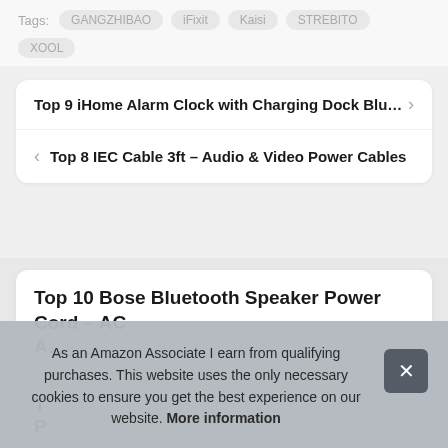Tags: GANGZHIBAO  iFixit  Kaisi  STREBITO  XOOL
Top 9 iHome Alarm Clock with Charging Dock Blu…
Top 8 IEC Cable 3ft – Audio & Video Power Cables
Top 10 Bose Bluetooth Speaker Power Cord – AC A…
As an Amazon Associate I earn from qualifying purchases. This website uses the only necessary cookies to ensure you get the best experience on our website. More information